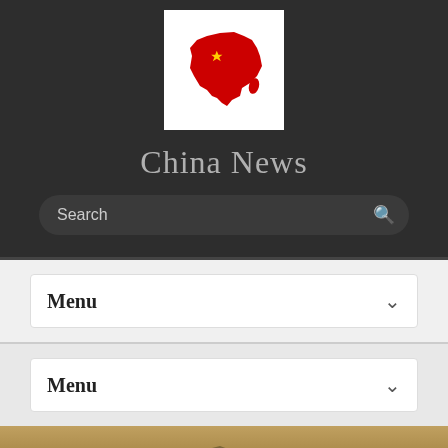[Figure (logo): China map silhouette in red with yellow star on white background]
China News
[Figure (screenshot): Search bar with placeholder text 'Search' and magnifying glass icon on dark background]
Menu
Menu
[Figure (photo): Aerial photograph of the Great Wall of China winding through mountainous terrain]
HOME › POLITICS & LAW › CHINA SAYS